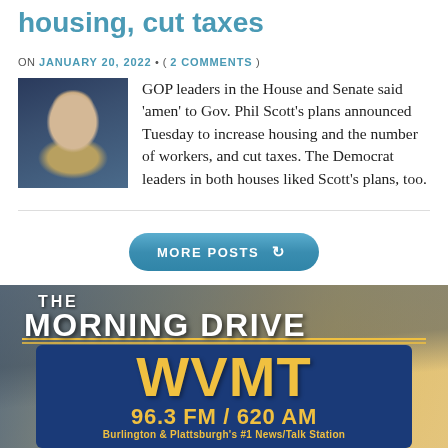housing, cut taxes
ON JANUARY 20, 2022 • ( 2 COMMENTS )
GOP leaders in the House and Senate said 'amen' to Gov. Phil Scott's plans announced Tuesday to increase housing and the number of workers, and cut taxes. The Democrat leaders in both houses liked Scott's plans, too.
[Figure (photo): Portrait photo of a woman with blonde hair and glasses, smiling, against a dark blue background]
[Figure (illustration): WVMT Morning Drive radio station advertisement banner showing cars in traffic with The Morning Drive logo, WVMT letters in gold on dark blue background, 96.3 FM / 620 AM, Burlington & Plattsburgh's #1 News/Talk Station]